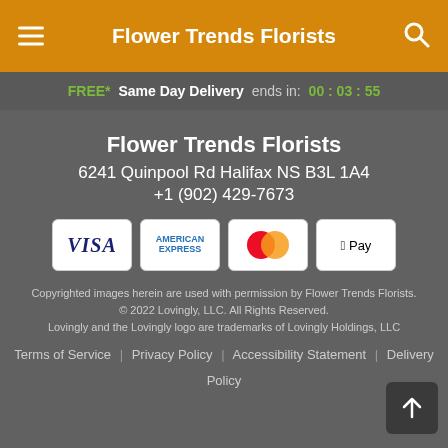Flower Trends Florists
FREE* Same Day Delivery ends in: 00 : 03 : 55
Flower Trends Florists
6241 Quinpool Rd Halifax NS B3L 1A4
+1 (902) 429-7673
[Figure (other): Payment method icons: VISA, American Express, Mastercard, Apple Pay]
Copyrighted images herein are used with permission by Flower Trends Florists.
© 2022 Lovingly, LLC. All Rights Reserved.
Lovingly and the Lovingly logo are trademarks of Lovingly Holdings, LLC
Terms of Service | Privacy Policy | Accessibility Statement | Delivery Policy